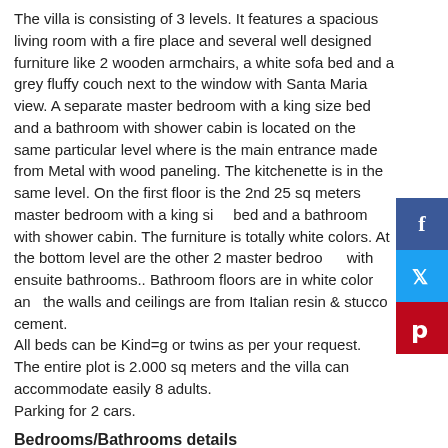The villa is consisting of 3 levels. It features a spacious living room with a fire place and several well designed furniture like 2 wooden armchairs, a white sofa bed and a grey fluffy couch next to the window with Santa Maria view. A separate master bedroom with a king size bed and a bathroom with shower cabin is located on the same particular level where is the main entrance made from Metal with wood paneling. The kitchenette is in the same level. On the first floor is the 2nd 25 sq meters master bedroom with a king size bed and a bathroom with shower cabin. The furniture is totally white colors. At the bottom level are the other 2 master bedrooms with ensuite bathrooms.. Bathroom floors are in white color and the walls and ceilings are from Italian resin & stucco cement.
All beds can be Kind=g or twins as per your request.
The entire plot is 2.000 sq meters and the villa can accommodate easily 8 adults.
Parking for 2 cars.
Bedrooms/Bathrooms details
Bedroom 1: Bedroom with King size bed and en suite bathroom with shower
Bedroom 2: Bedroom with King size bed and en suite bathroom with shower